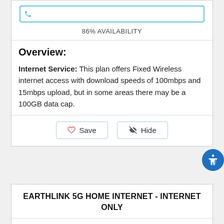[Figure (other): Phone number input field with blue border and phone icon]
86% AVAILABILITY
Overview:
Internet Service: This plan offers Fixed Wireless internet access with download speeds of 100mbps and 15mbps upload, but in some areas there may be a 100GB data cap.
[Figure (other): Save and Hide buttons with heart and eye-slash icons]
EARTHLINK 5G HOME INTERNET - INTERNET ONLY
[Figure (logo): EarthLink logo with orange orbit icon and EarthLink text]
[Figure (other): Star rating icons (5 empty/outline stars) and partial price display starting with dollar sign]